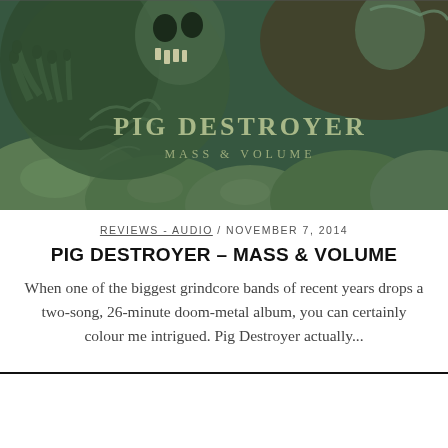[Figure (illustration): Album cover art for Pig Destroyer - Mass & Volume. Dark green horror illustration featuring monstrous skeletal/organic figures with clawed hands. Band name 'PIG DESTROYER' in stylized text and 'Mass & Volume' subtitle overlaid on the artwork.]
REVIEWS - AUDIO / NOVEMBER 7, 2014
PIG DESTROYER – MASS & VOLUME
When one of the biggest grindcore bands of recent years drops a two-song, 26-minute doom-metal album, you can certainly colour me intrigued. Pig Destroyer actually...